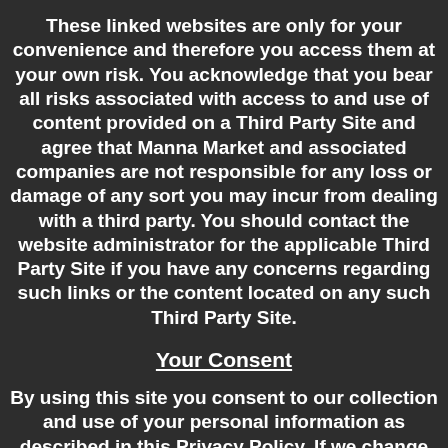These linked websites are only for your convenience and therefore you access them at your own risk. You acknowledge that you bear all risks associated with access to and use of content provided on a Third Party Site and agree that Manna Market and associated companies are not responsible for any loss or damage of any sort you may incur from dealing with a third party. You should contact the website administrator for the applicable Third Party Site if you have any concerns regarding such links or the content located on any such Third Party Site.
Your Consent
By using this site you consent to our collection and use of your personal information as described in this Privacy Policy. If we change our privacy policies and procedures,